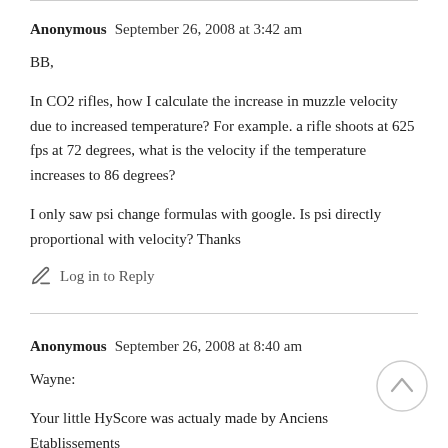Anonymous   September 26, 2008 at 3:42 am
BB,
In CO2 rifles, how I calculate the increase in muzzle velocity due to increased temperature? For example. a rifle shoots at 625 fps at 72 degrees, what is the velocity if the temperature increases to 86 degrees?
I only saw psi change formulas with google. Is psi directly proportional with velocity? Thanks
Log in to Reply
Anonymous   September 26, 2008 at 8:40 am
Wayne:
Your little HyScore was actualy made by Anciens Etablissements